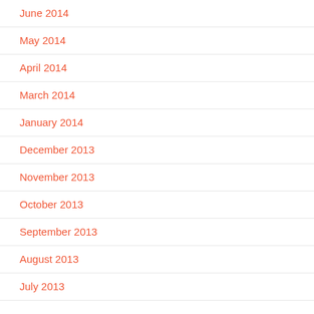June 2014
May 2014
April 2014
March 2014
January 2014
December 2013
November 2013
October 2013
September 2013
August 2013
July 2013